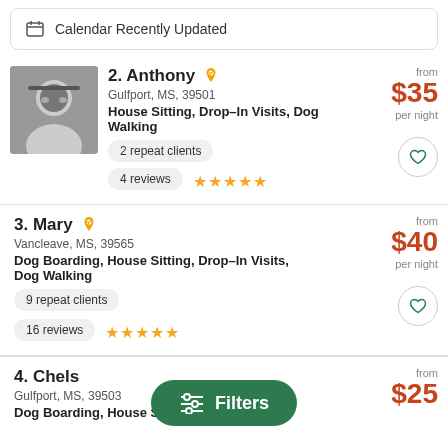Calendar Recently Updated
2. Anthony
Gulfport, MS, 39501
House Sitting, Drop–In Visits, Dog Walking
2 repeat clients
4 reviews ★★★★★
from $35 per night
3. Mary
Vancleave, MS, 39565
Dog Boarding, House Sitting, Drop–In Visits, Dog Walking
9 repeat clients
16 reviews ★★★★★
from $40 per night
4. Chels
Gulfport, MS, 39503
Dog Boarding, House Sitting, Drop–In Visits,
from $25 per night
Filters